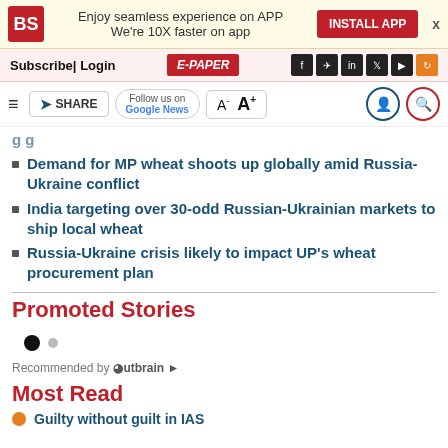BS | Enjoy seamless experience on APP We're 10X faster on app | INSTALL APP
Subscribe | Login  E-PAPER
SHARE | Follow us on Google News | A- A+
Demand for MP wheat shoots up globally amid Russia-Ukraine conflict
India targeting over 30-odd Russian-Ukrainian markets to ship local wheat
Russia-Ukraine crisis likely to impact UP's wheat procurement plan
Promoted Stories
Recommended by Outbrain
Most Read
Guilty without guilt in IAS